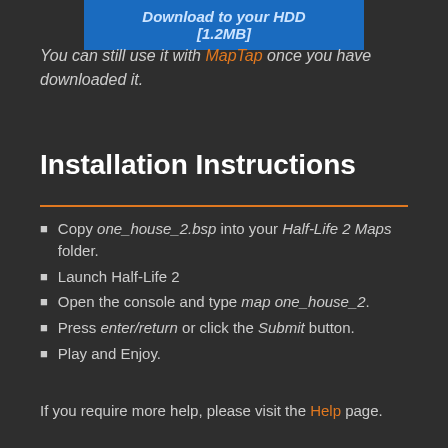[Figure (other): Blue download button with text 'Download to your HDD [1.2MB]']
You can still use it with MapTap once you have downloaded it.
Installation Instructions
Copy one_house_2.bsp into your Half-Life 2 Maps folder.
Launch Half-Life 2
Open the console and type map one_house_2.
Press enter/return or click the Submit button.
Play and Enjoy.
If you require more help, please visit the Help page.